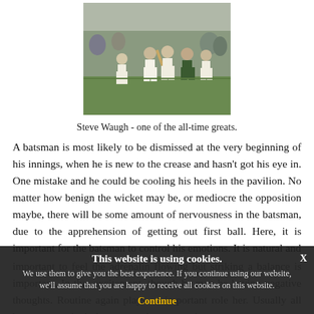[Figure (photo): Cricket players on a field, Steve Waugh and teammates, walking off or on the pitch with a crowd and others in the background.]
Steve Waugh - one of the all-time greats.
A batsman is most likely to be dismissed at the very beginning of his innings, when he is new to the crease and hasn't got his eye in. One mistake and he could be cooling his heels in the pavilion. No matter how benign the wicket may be, or mediocre the opposition maybe, there will be some amount of nervousness in the batsman, due to the apprehension of getting out first ball. Here, it is important for the batsman to control his emotions. It is natural and important to feel the adrenalin flowing but striking a balance is important. In that excitement, though he may be having negative thoughts. Routine again plays an important role her. Usually all batsmen, particularly openers, have a routine
This website is using cookies.
We use them to give you the best experience. If you continue using our website, we'll assume that you are happy to receive all cookies on this website.
Continue